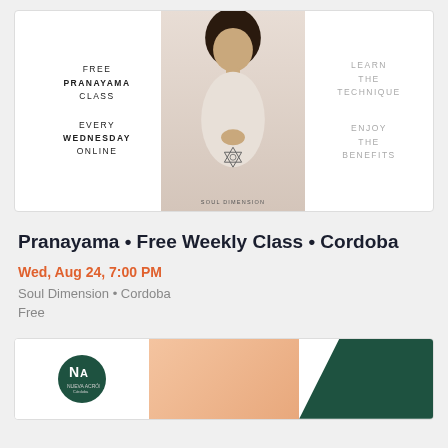[Figure (photo): Promotional banner for Free Pranayama Class every Wednesday online, featuring a woman in prayer pose with Soul Dimension branding. Left text: FREE PRANAYAMA CLASS / EVERY WEDNESDAY ONLINE. Right text: LEARN THE TECHNIQUE / ENJOY THE BENEFITS.]
Pranayama • Free Weekly Class • Cordoba
Wed, Aug 24, 7:00 PM
Soul Dimension • Cordoba
Free
[Figure (photo): Bottom event card showing Nueva Acrópolis Córdoba logo (green circle with white letters) on left, a peach/salmon colored image in center, and dark green triangular shape on right.]